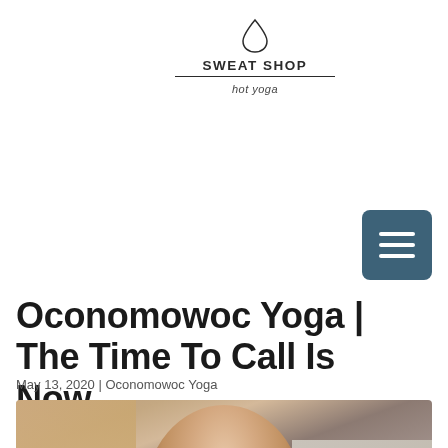[Figure (logo): Sweat Shop Hot Yoga logo: a water drop icon above the text SWEAT SHOP with a horizontal line and 'hot yoga' beneath]
[Figure (other): Dark teal/slate colored hamburger menu button with three horizontal white lines]
Oconomowoc Yoga | The Time To Call Is Now
May 13, 2020 | Oconomowoc Yoga
[Figure (photo): Portrait photo of a smiling young woman with long dark hair, wearing dark clothing, in an indoor setting with soft warm lighting and a framed artwork visible in the background]